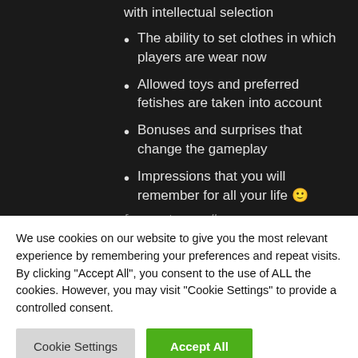with intellectual selection
The ability to set clothes in which players are wear now
Allowed toys and preferred fetishes are taken into account
Bonuses and surprises that change the gameplay
Impressions that you will remember for all your life 🙂
[su_custom_gallery
We use cookies on our website to give you the most relevant experience by remembering your preferences and repeat visits. By clicking "Accept All", you consent to the use of ALL the cookies. However, you may visit "Cookie Settings" to provide a controlled consent.
Cookie Settings | Accept All